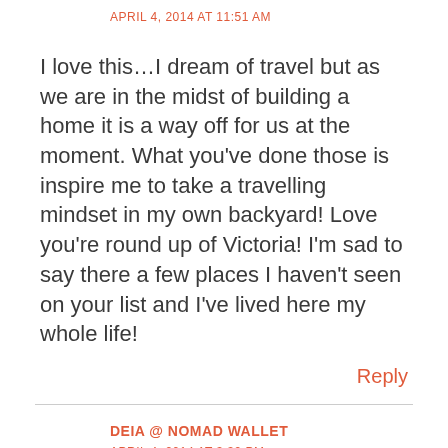APRIL 4, 2014 AT 11:51 AM
I love this…I dream of travel but as we are in the midst of building a home it is a way off for us at the moment. What you've done those is inspire me to take a travelling mindset in my own backyard! Love you're round up of Victoria! I'm sad to say there a few places I haven't seen on your list and I've lived here my whole life!
Reply
DEIA @ NOMAD WALLET
APRIL 4, 2014 AT 3:39 PM